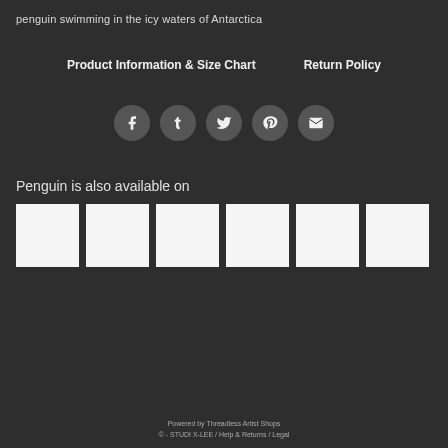penguin swimming in the icy waters of Antarctica
Product Information & Size Chart    Return Policy
[Figure (other): Social media share icons: Facebook, Tumblr, Twitter, Pinterest, Email — white icons in dark circular buttons]
Penguin is also available on
[Figure (other): Six white square product thumbnail placeholders in a horizontal row]
Powered by Threadless Artist Shops
© - STUDI X-LEE  /  Help & Returns  /  Legal